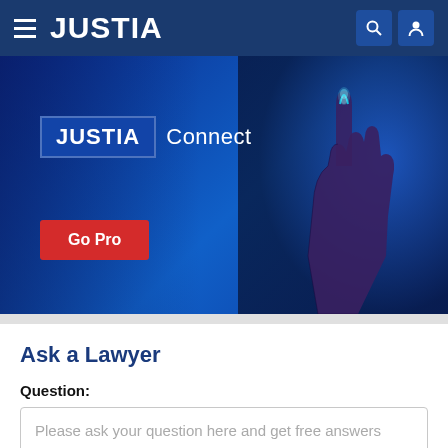JUSTIA
[Figure (screenshot): JUSTIA Connect hero banner with blue background, hand pointing upward illustration on right, 'JUSTIA Connect' heading, and a red 'Go Pro' button]
Ask a Lawyer
Question:
Please ask your question here and get free answers from lawyers.